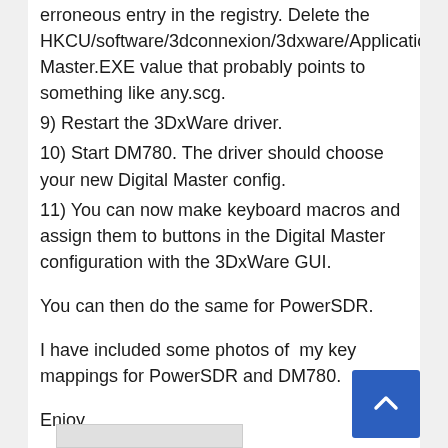erroneous entry in the registry. Delete the HKCU/software/3dconnexion/3dxware/Applications/Digital Master.EXE value that probably points to something like any.scg.
9) Restart the 3DxWare driver.
10) Start DM780. The driver should choose your new Digital Master config.
11) You can now make keyboard macros and assign them to buttons in the Digital Master configuration with the 3DxWare GUI.
You can then do the same for PowerSDR.
I have included some photos of  my key mappings for PowerSDR and DM780.
Enjoy